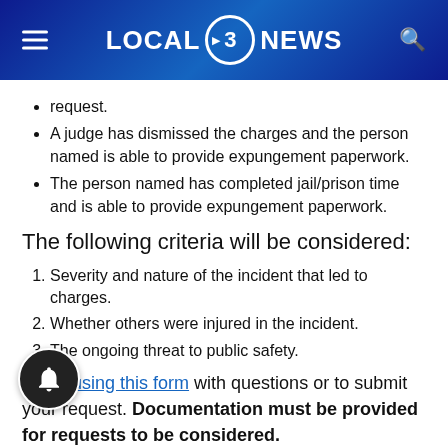LOCAL 3 NEWS
request.
A judge has dismissed the charges and the person named is able to provide expungement paperwork.
The person named has completed jail/prison time and is able to provide expungement paperwork.
The following criteria will be considered:
Severity and nature of the incident that led to charges.
Whether others were injured in the incident.
The ongoing threat to public safety.
Email using this form with questions or to submit your request. Documentation must be provided for requests to be considered.
This process applies to content on Local3News.com only. We will review the